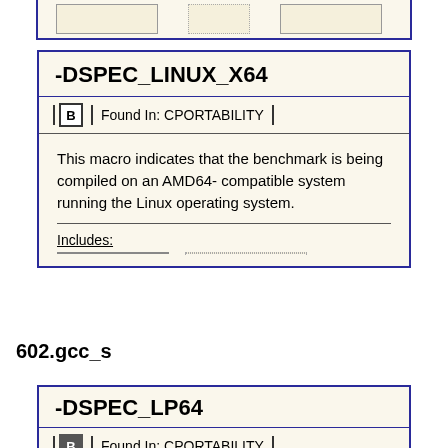|  |  |  |  |  |
-DSPEC_LINUX_X64
Found In: CPORTABILITY
This macro indicates that the benchmark is being compiled on an AMD64-compatible system running the Linux operating system.
Includes:
|  |  |  |
602.gcc_s
-DSPEC_LP64
Found In: CPORTABILITY